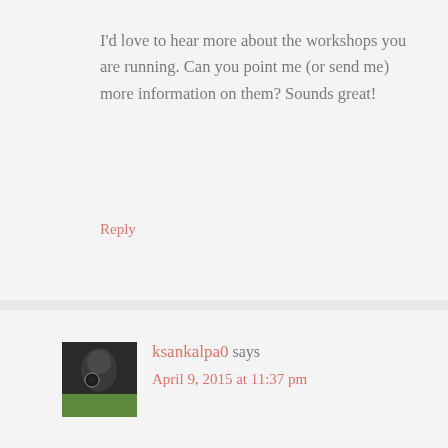I'd love to hear more about the workshops you are running. Can you point me (or send me) more information on them? Sounds great!
Reply
ksankalpa0 says
April 9, 2015 at 11:37 pm
Great Post ,,Really Encouraging me ,, Im from Computer Science and had a opportunity to